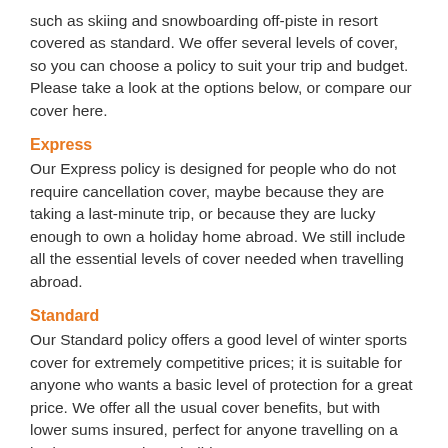such as skiing and snowboarding off-piste in resort covered as standard. We offer several levels of cover, so you can choose a policy to suit your trip and budget. Please take a look at the options below, or compare our cover here.
Express
Our Express policy is designed for people who do not require cancellation cover, maybe because they are taking a last-minute trip, or because they are lucky enough to own a holiday home abroad. We still include all the essential levels of cover needed when travelling abroad.
Standard
Our Standard policy offers a good level of winter sports cover for extremely competitive prices; it is suitable for anyone who wants a basic level of protection for a great price. We offer all the usual cover benefits, but with lower sums insured, perfect for anyone travelling on a budget, or a package holiday.